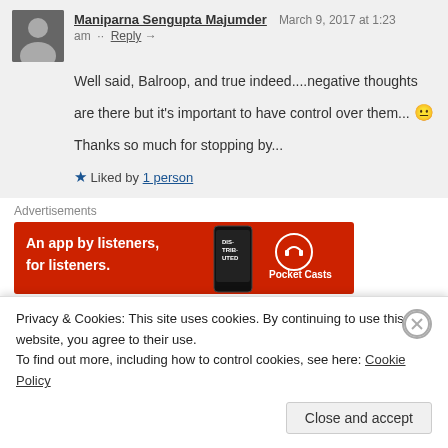Maniparna Sengupta Majumder  March 9, 2017 at 1:23 am · Reply →
Well said, Balroop, and true indeed....negative thoughts are there but it's important to have control over them... 😐 Thanks so much for stopping by...
★ Liked by 1 person
Advertisements
[Figure (illustration): Pocket Casts advertisement banner: red background with text 'An app by listeners, for listeners.' and a phone image showing 'Distributed' podcast, alongside Pocket Casts logo.]
BroadBlogs  February 23, 2017 at 5:15 am · Reply →
Privacy & Cookies: This site uses cookies. By continuing to use this website, you agree to their use.
To find out more, including how to control cookies, see here: Cookie Policy
Close and accept